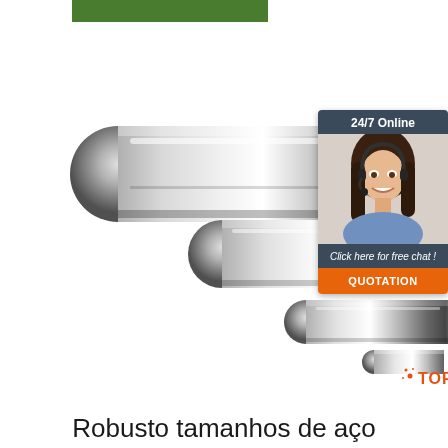[Figure (photo): Green horizontal bar at top of page, brand accent element]
[Figure (photo): Three polished steel/chrome cylindrical rods of decreasing diameter arranged diagonally on white background, with a smaller rod to the right]
[Figure (other): 24/7 Online chat widget with photo of woman with headset, 'Click here for free chat!' text, and orange QUOTATION button]
[Figure (other): Small steel rod with orange TOP badge/logo in bottom right corner]
Robusto tamanhos de aço